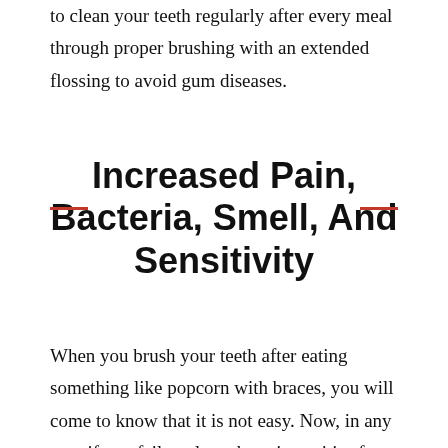Brushing your teeth with braces is quite tricky, you need to clean your teeth regularly after every meal through proper brushing with an extended flossing to avoid gum diseases.
Increased Pain, Bacteria, Smell, And Sensitivity
When you brush your teeth after eating something like popcorn with braces, you will come to know that it is not easy. Now, in any case if you fail to clean those impurities from your teeth or braces, the plaque and bacteria will invite more pain, foul smell, and other gum diseases like